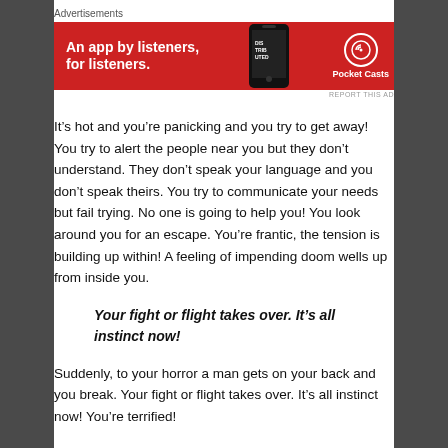[Figure (other): Pocket Casts advertisement banner with red background, phone image, and brand logo. Text reads: An app by listeners, for listeners.]
It’s hot and you’re panicking and you try to get away! You try to alert the people near you but they don’t understand. They don’t speak your language and you don’t speak theirs. You try to communicate your needs but fail trying. No one is going to help you! You look around you for an escape. You’re frantic, the tension is building up within! A feeling of impending doom wells up from inside you.
Your fight or flight takes over. It’s all instinct now!
Suddenly, to your horror a man gets on your back and you break. Your fight or flight takes over. It’s all instinct now! You’re terrified!
You try to escape the horror of what is happening to you!